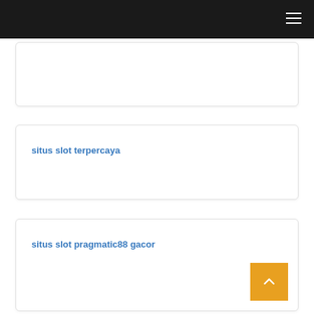situs slot terpercaya
situs slot pragmatic88 gacor